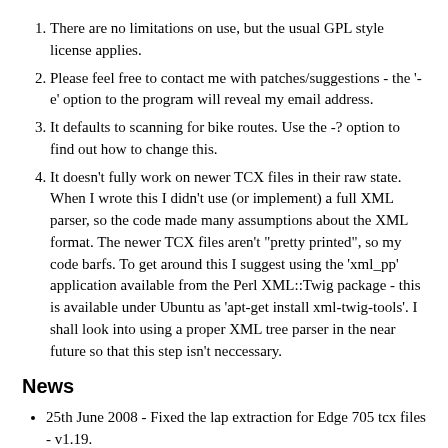There are no limitations on use, but the usual GPL style license applies.
Please feel free to contact me with patches/suggestions - the '-e' option to the program will reveal my email address.
It defaults to scanning for bike routes. Use the -? option to find out how to change this.
It doesn't fully work on newer TCX files in their raw state. When I wrote this I didn't use (or implement) a full XML parser, so the code made many assumptions about the XML format. The newer TCX files aren't "pretty printed", so my code barfs. To get around this I suggest using the 'xml_pp' application available from the Perl XML::Twig package - this is available under Ubuntu as 'apt-get install xml-twig-tools'. I shall look into using a proper XML tree parser in the near future so that this step isn't neccessary.
News
25th June 2008 - Fixed the lap extraction for Edge 705 tcx files - v1.19.
4th July 2007 - Added course extraction - v1.18.
Thanks to :